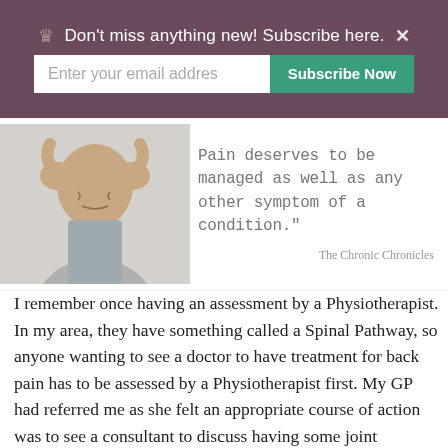Don't miss anything new! Subscribe here.
[Figure (screenshot): Email subscription banner with input field 'Enter your email addres' and 'Subscribe Now' green button on purple/mauve background]
[Figure (photo): Man holding his head in his hands with a pained expression, next to a handwritten-style quote: 'Pain deserves to be managed as well as any other symptom of a condition.' — The Chronic Chronicles]
I remember once having an assessment by a Physiotherapist. In my area, they have something called a Spinal Pathway, so anyone wanting to see a doctor to have treatment for back pain has to be assessed by a Physiotherapist first. My GP had referred me as she felt an appropriate course of action was to see a consultant to discuss having some joint injections into my spine. After talking to me for a couple of minutes,